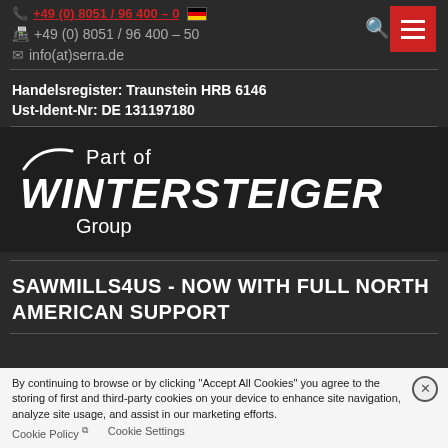+49 (0) 8051 / 96 400 – 0  |  +49 (0) 8051 / 96 400 – 50  |  info(at)serra.de
Handelsregister: Traunstein HRB 6146
Ust-Ident-Nr: DE 131197180
[Figure (logo): Part of WINTERSTEIGER Group logo — white text on dark background with stylized swoosh mark]
SAWMILLS4US - NOW WITH FULL NORTH AMERICAN SUPPORT
By continuing to browse or by clicking "Accept All Cookies" you agree to the storing of first and third-party cookies on your device to enhance site navigation, analyze site usage, and assist in our marketing efforts.
Cookie Policy   Cookie Settings